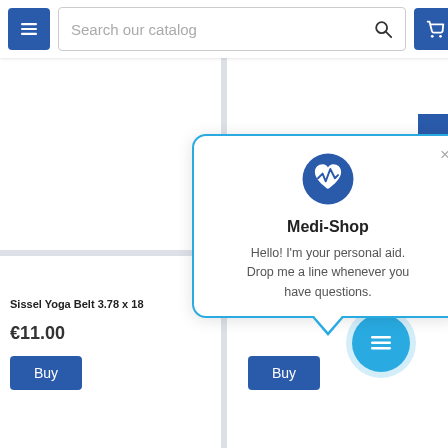[Figure (screenshot): E-commerce website screenshot showing a navigation bar with hamburger menu, search bar labeled 'Search our catalog', and shopping cart icon. Below are product grid cells with a chat popup from 'Medi-Shop' overlaid.]
Search our catalog
Sissel Yoga Belt 3.78 x 18
€11.00
Buy
ro...
Buy
FILTER
Medi-Shop
Hello! I'm your personal aid. Drop me a line whenever you have questions.